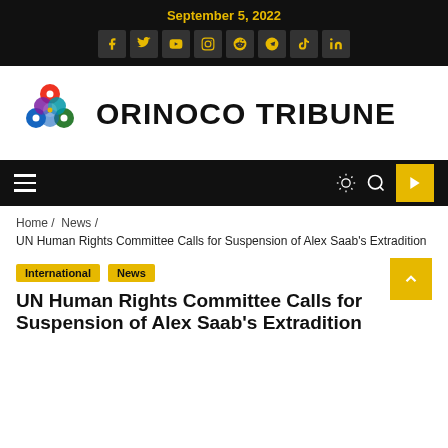September 5, 2022
[Figure (logo): Orinoco Tribune logo with colorful circular emblem and bold black text ORINOCO TRIBUNE]
Home / News / UN Human Rights Committee Calls for Suspension of Alex Saab's Extradition
International
News
UN Human Rights Committee Calls for Suspension of Alex Saab's Extradition